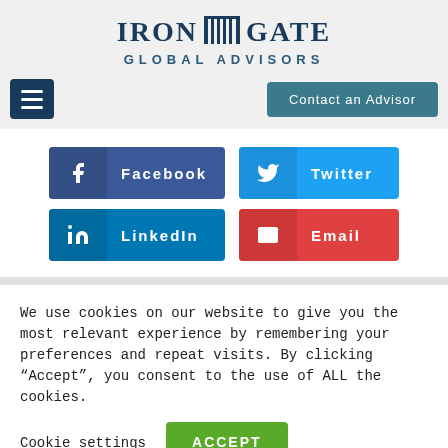[Figure (logo): Iron Gate Global Advisors logo with gate icon between IRON and GATE text]
[Figure (screenshot): Navigation bar with hamburger menu button and 'Contact an Advisor' button]
[Figure (screenshot): Social sharing buttons: Facebook, Twitter, LinkedIn, Email]
We use cookies on our website to give you the most relevant experience by remembering your preferences and repeat visits. By clicking "Accept", you consent to the use of ALL the cookies.
Cookie settings
ACCEPT